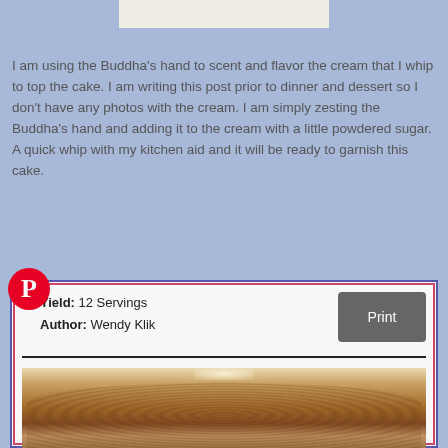[Figure (photo): Partial image at top of page, light beige/cream colored background strip]
I am using the Buddha's hand to scent and flavor the cream that I whip to top the cake.  I am writing this post prior to dinner and dessert so I don't have any photos with the cream.  I am simply zesting the Buddha's hand and adding it to the cream with a little powdered sugar. A quick whip with my kitchen aid and it will be ready to garnish this cake.
[Figure (logo): Pinterest circular logo icon in red with white P]
Yield: 12 Servings
Author: Wendy Klik
Print
[Figure (photo): Photo of a baked upside-down cake with caramelized topping, brown sugar glazed pineapple chunks visible on top]